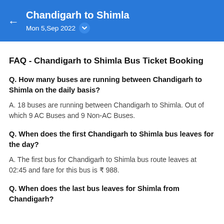Chandigarh to Shimla — Mon 5,Sep 2022
FAQ - Chandigarh to Shimla Bus Ticket Booking
Q. How many buses are running between Chandigarh to Shimla on the daily basis?
A. 18 buses are running between Chandigarh to Shimla. Out of which 9 AC Buses and 9 Non-AC Buses.
Q. When does the first Chandigarh to Shimla bus leaves for the day?
A. The first bus for Chandigarh to Shimla bus route leaves at 02:45 and fare for this bus is ₹ 988.
Q. When does the last bus leaves for Shimla from Chandigarh?